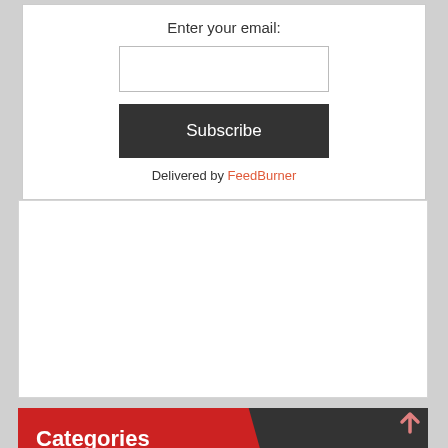Enter your email:
[Figure (screenshot): Email input field box]
Subscribe
Delivered by FeedBurner
[Figure (other): Empty advertisement/content box]
Categories
ARCA
Editorial
Fantasy Racing